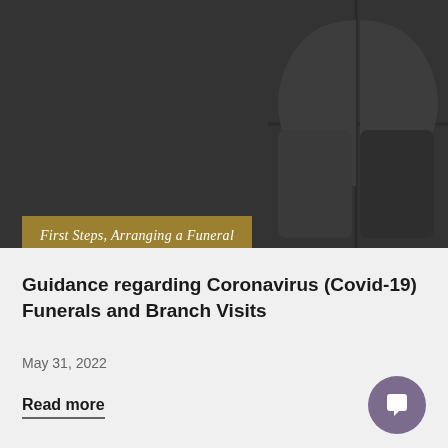[Figure (illustration): Dark grey header background with a stylized geometric logo in the top-right corner resembling a split circle or book shape in dark tones]
First Steps, Arranging a Funeral
Guidance regarding Coronavirus (Covid-19) Funerals and Branch Visits
May 31, 2022
Read more